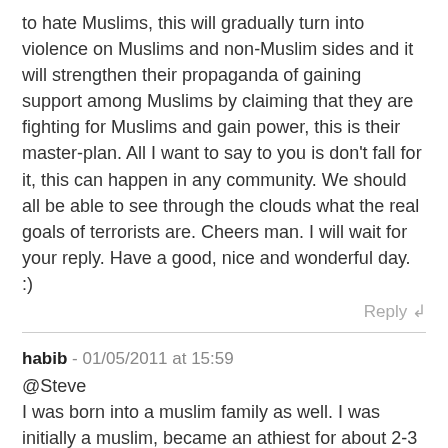to hate Muslims, this will gradually turn into violence on Muslims and non-Muslim sides and it will strengthen their propaganda of gaining support among Muslims by claiming that they are fighting for Muslims and gain power, this is their master-plan. All I want to say to you is don't fall for it, this can happen in any community. We should all be able to see through the clouds what the real goals of terrorists are. Cheers man. I will wait for your reply. Have a good, nice and wonderful day. :)
Reply ↲
habib - 01/05/2011 at 15:59
@Steve
I was born into a muslim family as well. I was initially a muslim, became an athiest for about 2-3 years and then became a muslim once again.
and you gotta be kidding if you quote from wikipedia.
Reply ↲